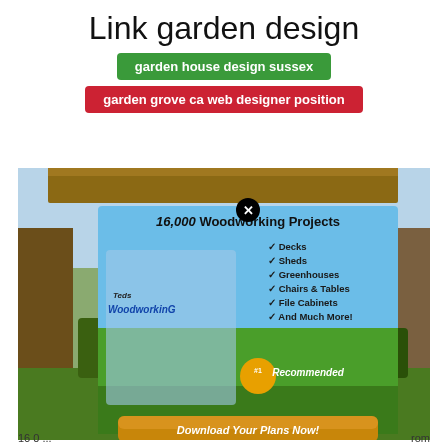Link garden design
garden house design sussex
garden grove ca web designer position
[Figure (screenshot): Advertisement overlay on a garden photo showing '16,000 Woodworking Projects' ad with checklist items (Decks, Sheds, Greenhouses, Chairs & Tables, File Cabinets, And Much More!), #1 Recommended badge, and Download Your Plans Now button, with a close (X) button. Garden background shows wooden raised beds and fencing.]
16 0... rom